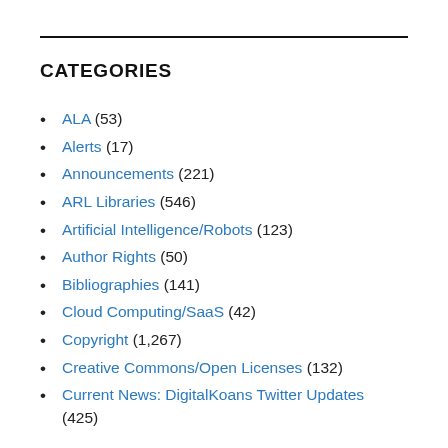CATEGORIES
ALA (53)
Alerts (17)
Announcements (221)
ARL Libraries (546)
Artificial Intelligence/Robots (123)
Author Rights (50)
Bibliographies (141)
Cloud Computing/SaaS (42)
Copyright (1,267)
Creative Commons/Open Licenses (132)
Current News: DigitalKoans Twitter Updates (425)